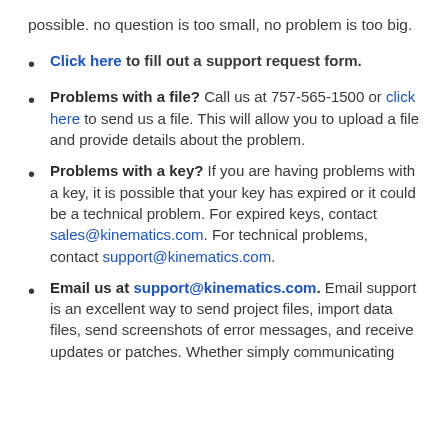possible. no question is too small, no problem is too big.
Click here to fill out a support request form.
Problems with a file? Call us at 757-565-1500 or click here to send us a file. This will allow you to upload a file and provide details about the problem.
Problems with a key? If you are having problems with a key, it is possible that your key has expired or it could be a technical problem. For expired keys, contact sales@kinematics.com. For technical problems, contact support@kinematics.com.
Email us at support@kinematics.com. Email support is an excellent way to send project files, import data files, send screenshots of error messages, and receive updates or patches. Whether simply communicating